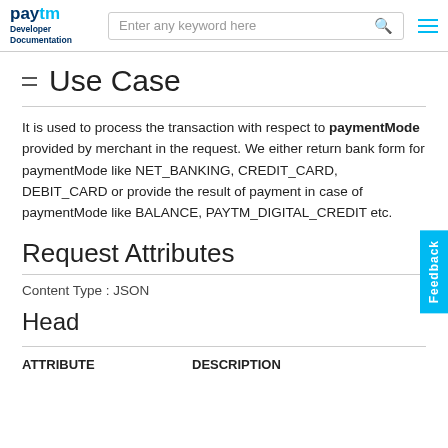Paytm Developer Documentation — search bar with Enter any keyword here
Use Case
It is used to process the transaction with respect to paymentMode provided by merchant in the request. We either return bank form for paymentMode like NET_BANKING, CREDIT_CARD, DEBIT_CARD or provide the result of payment in case of paymentMode like BALANCE, PAYTM_DIGITAL_CREDIT etc.
Request Attributes
Content Type : JSON
Head
| ATTRIBUTE | DESCRIPTION |
| --- | --- |